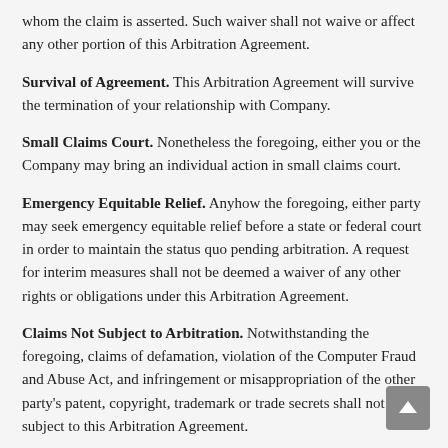whom the claim is asserted. Such waiver shall not waive or affect any other portion of this Arbitration Agreement.
Survival of Agreement. This Arbitration Agreement will survive the termination of your relationship with Company.
Small Claims Court. Nonetheless the foregoing, either you or the Company may bring an individual action in small claims court.
Emergency Equitable Relief. Anyhow the foregoing, either party may seek emergency equitable relief before a state or federal court in order to maintain the status quo pending arbitration. A request for interim measures shall not be deemed a waiver of any other rights or obligations under this Arbitration Agreement.
Claims Not Subject to Arbitration. Notwithstanding the foregoing, claims of defamation, violation of the Computer Fraud and Abuse Act, and infringement or misappropriation of the other party's patent, copyright, trademark or trade secrets shall not be subject to this Arbitration Agreement.